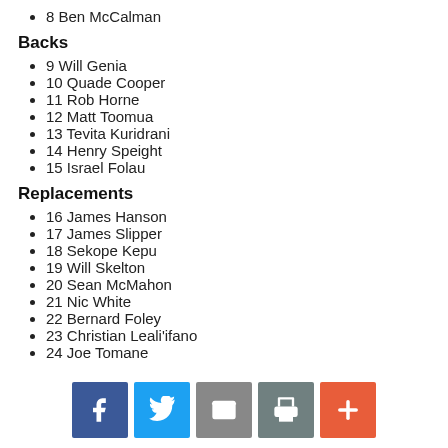8 Ben McCalman
Backs
9 Will Genia
10 Quade Cooper
11 Rob Horne
12 Matt Toomua
13 Tevita Kuridrani
14 Henry Speight
15 Israel Folau
Replacements
16 James Hanson
17 James Slipper
18 Sekope Kepu
19 Will Skelton
20 Sean McMahon
21 Nic White
22 Bernard Foley
23 Christian Leali'ifano
24 Joe Tomane
[Figure (infographic): Social sharing buttons: Facebook, Twitter, Email, Print, More (plus icon)]